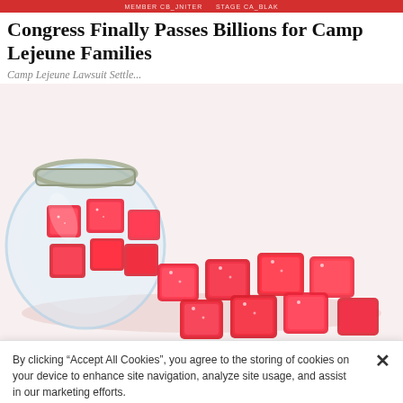MEMBER CB_JNITER   STAGE CA_BLAK
Congress Finally Passes Billions for Camp Lejeune Families
Camp Lejeune Lawsuit Settle...
[Figure (photo): A glass jar tipped on its side spilling red sugar-coated gummy candy cubes onto a white background]
By clicking “Accept All Cookies”, you agree to the storing of cookies on your device to enhance site navigation, analyze site usage, and assist in our marketing efforts.
Cookies Settings
Accept All Cookies